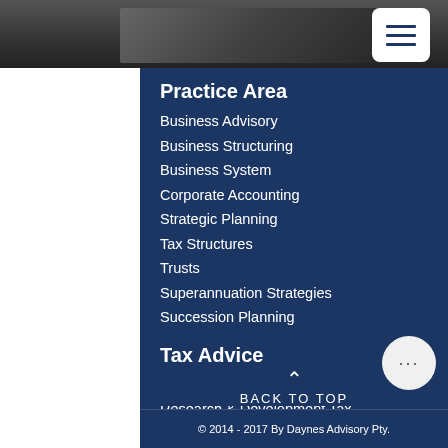[Figure (photo): Black and white photo of a desk with keyboard and office equipment]
Practice Area
Business Advisory
Business Structuring
Business System
Corporate Accounting
Strategic Planning
Tax Structures
Trusts
Superannuation Strategies
Succession Planning
Tax Advice
International & Expatriate Tax
Research & Development Tax
Employment Tax
Individual Tax Return
Non-profit Organisation
BACK TO TOP
© 2014 - 2017 By Daynes Advisory Pty.